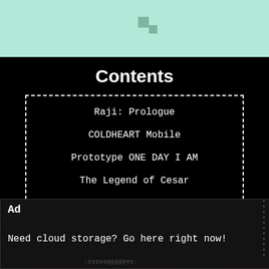[Figure (illustration): Light mint/teal colored banner at top of page with pixel-art style decorative elements]
Contents
Raji: Prologue
COLDHEART Mobile
Prototype ONE DAY I AM
The Legend of Cesar
COLDHEART
New Dawn
Escape The Pacific
Ad
X
Need cloud storage? Go here right now!